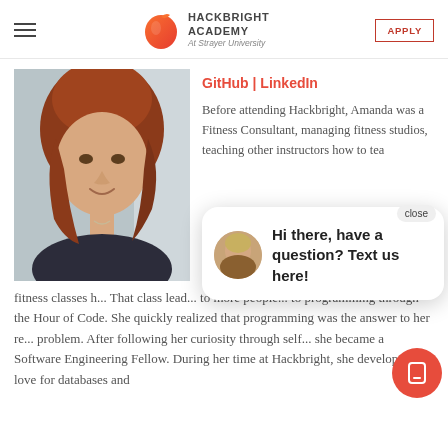Hackbright Academy | At Strayer University — APPLY
[Figure (photo): Profile photo of Amanda, a woman with red hair]
GitHub | LinkedIn
Before attending Hackbright, Amanda was a Fitness Consultant, managing fitness studios, teaching other instructors how to tea...
fitness classes h... That class lead... to more people... to programming through the Hour of Code. She quickly realized that programming was the answer to her re... problem. After following her curiosity through self... she became a Software Engineering Fellow. During her time at Hackbright, she developed a love for databases and
[Figure (screenshot): Chat popup with avatar and message: Hi there, have a question? Text us here!]